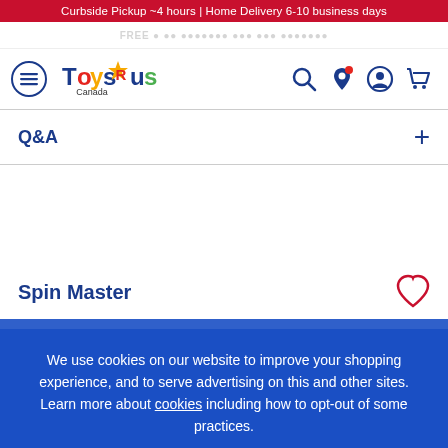Curbside Pickup ~4 hours | Home Delivery 6-10 business days
[Figure (logo): Toys R Us Canada logo with hamburger menu icon and navigation icons (search, location, account, cart)]
Q&A
Spin Master
We use cookies on our website to improve your shopping experience, and to serve advertising on this and other sites. Learn more about cookies including how to opt-out of some practices. Close